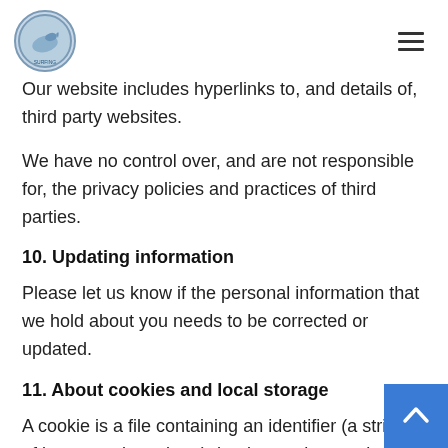[Logo] [Navigation menu icon]
Our website includes hyperlinks to, and details of, third party websites.
We have no control over, and are not responsible for, the privacy policies and practices of third parties.
10. Updating information
Please let us know if the personal information that we hold about you needs to be corrected or updated.
11. About cookies and local storage
A cookie is a file containing an identifier (a string of letters and numbers) that is sent by a web server to a web browser and is stored by the browser. The iden is then sent back to the server each time the browser